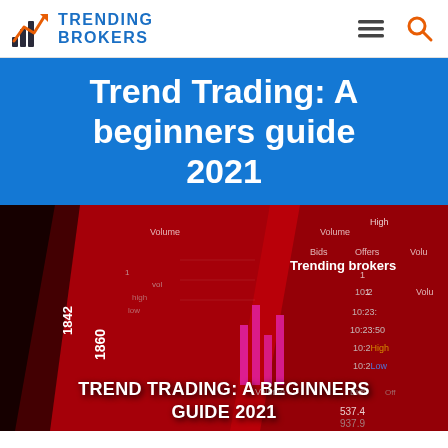TRENDING BROKERS
Trend Trading: A beginners guide 2021
[Figure (photo): Dark trading screen background with red illuminated stock data panels showing numbers like 1842, 1860, timestamps 10:23, 10:23:50, bids/offers columns, and a waterfall/bar chart in magenta. Text overlay reads 'Trending brokers' in the upper right, and 'TREND TRADING: A BEGINNERS GUIDE 2021' at the bottom.]